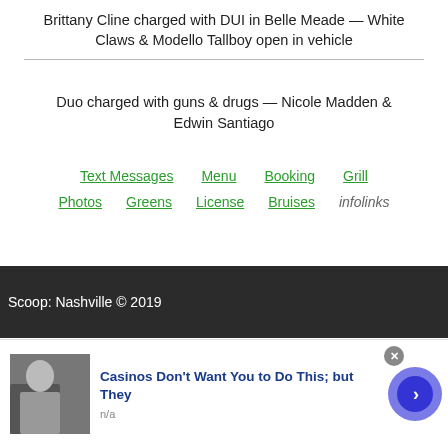Brittany Cline charged with DUI in Belle Meade — White Claws & Modello Tallboy open in vehicle
Duo charged with guns & drugs — Nicole Madden & Edwin Santiago
Text Messages
Menu
Booking
Grill
Photos
Greens
License
Bruises
infolinks
Scoop: Nashville © 2019
Casinos Don't Want You to Do This; but They
n/a